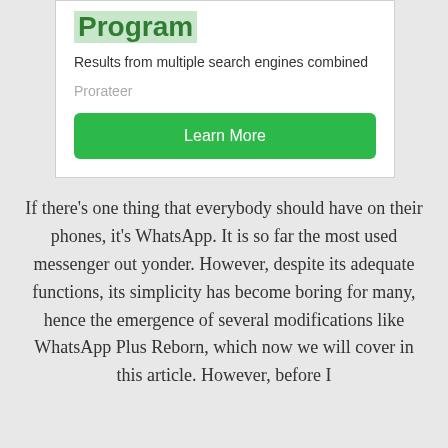Program
Results from multiple search engines combined
Prorateer
Learn More
If there’s one thing that everybody should have on their phones, it’s WhatsApp. It is so far the most used messenger out yonder. However, despite its adequate functions, its simplicity has become boring for many, hence the emergence of several modifications like WhatsApp Plus Reborn, which now we will cover in this article. However, before I